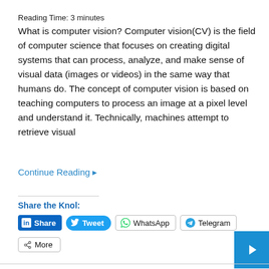Reading Time: 3 minutes
What is computer vision? Computer vision(CV) is the field of computer science that focuses on creating digital systems that can process, analyze, and make sense of visual data (images or videos) in the same way that humans do. The concept of computer vision is based on teaching computers to process an image at a pixel level and understand it. Technically, machines attempt to retrieve visual
Continue Reading →
Share the Knol:
[Figure (infographic): Social share buttons: LinkedIn Share, Tweet, WhatsApp, Telegram, More]
[Figure (other): Blue box with arrow icon on right side]